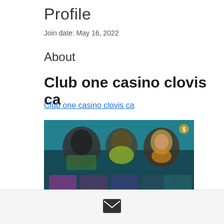Profile
Join date: May 16, 2022
About
Club one casino clovis ca
Club one casino clovis ca
[Figure (photo): Blurred screenshot of an online casino interface showing colorful game thumbnails with animated characters on a teal/dark background]